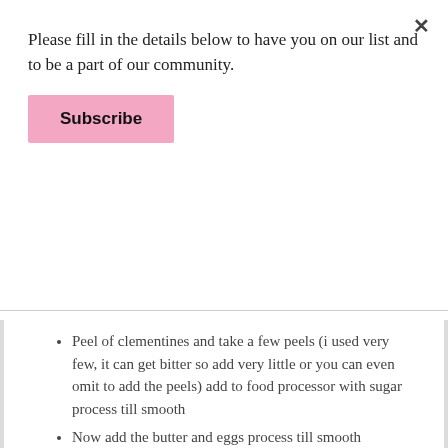Please fill in the details below to have you on our list and to be a part of our community.
Subscribe
Peel of clementines and take a few peels (i used very few, it can get bitter so add very little or you can even omit to add the peels) add to food processor with sugar process till smooth
Now add the butter and eggs process till smooth
Add the flour and baking powder and process until mixed well
Now spoon the batter into a baking tray
Bake at 200 degrees for 50 minutes until golden (depending on your oven). Place a toothpick to see how baked the cake is.